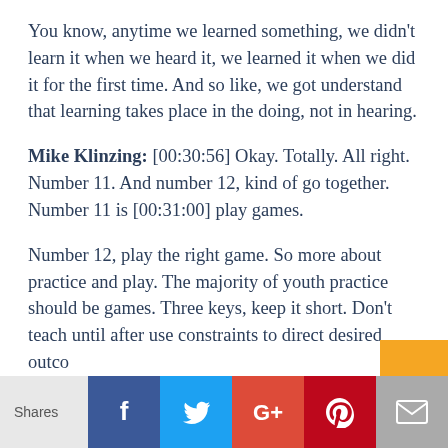You know, anytime we learned something, we didn't learn it when we heard it, we learned it when we did it for the first time. And so like, we got understand that learning takes place in the doing, not in hearing.
Mike Klinzing: [00:30:56] Okay. Totally. All right. Number 11. And number 12, kind of go together. Number 11 is [00:31:00] play games.
Number 12, play the right game. So more about practice and play. The majority of youth practice should be games. Three keys, keep it short. Don't teach until after use constraints to direct desired outco…